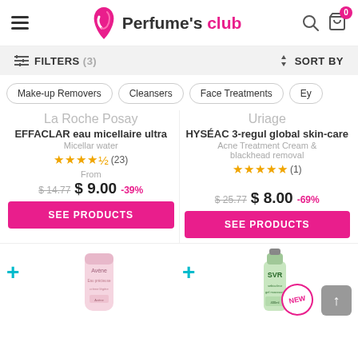Perfume's club - navigation header with search and cart
FILTERS (3)   SORT BY
Make-up Removers
Cleansers
Face Treatments
Ey...
La Roche Posay
EFFACLAR eau micellaire ultra
Micellar water
★★★★½ (23)
From
$14.77  $9.00  -39%
SEE PRODUCTS
Uriage
HYSÉAC 3-regul global skin-care
Acne Treatment Cream & blackhead removal
★★★★★ (1)
$25.77  $8.00  -69%
SEE PRODUCTS
[Figure (photo): Avène product tube (pink) - bottom product teaser]
[Figure (photo): SVR product bottle (green) - bottom product teaser with NEW badge]